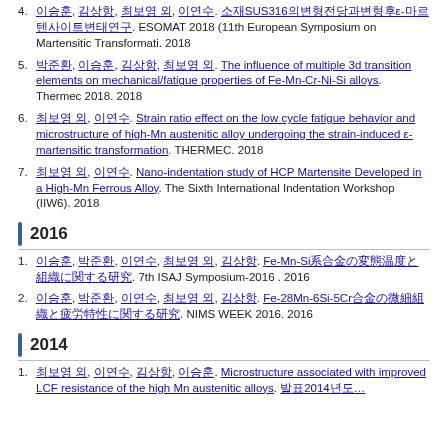4. 저자명 외. 제목SUS316에서의ε-마르텐사이트변태연구. ESOMAT 2018 (11th European Symposium on Martensitic Transformati. 2018
5. 저자명 외. The influence of multiple 3d transition elements on mechanical/fatigue properties of Fe-Mn-Cr-Ni-Si alloys. Thermec 2018. 2018
6. 저자명 외. Strain ratio effect on the low cycle fatigue behavior and microstructure of high-Mn austenitic alloy undergoing the strain-induced ε-martensitic transformation. THERMEC. 2018
7. 저자명 외. Nano-indentation study of HCP Martensite Developed in a High-Mn Ferrous Alloy. The Sixth International Indentation Workshop (IIW6). 2018
2016
1. 저자명 외. Fe-Mn-Si系合金の変態温度と組織に関する研究. 7th ISAJ Symposium-2016 . 2016
2. 저자명 외. Fe-28Mn-6Si-5Cr合金の微細組織と疲労特性に関する研究. NIMS WEEK 2016. 2016
2014
1. 저자명 외. Microstructure associated with improved LCF resistance of the high Mn austenitic alloys. 발표2014년도...